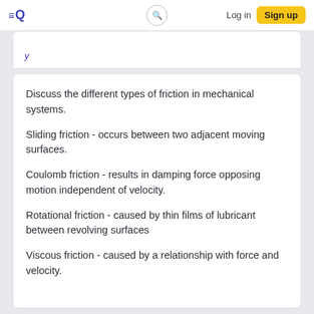Log in | Sign up
Discuss the different types of friction in mechanical systems.
Sliding friction - occurs between two adjacent moving surfaces.
Coulomb friction - results in damping force opposing motion independent of velocity.
Rotational friction - caused by thin films of lubricant between revolving surfaces
Viscous friction - caused by a relationship with force and velocity.